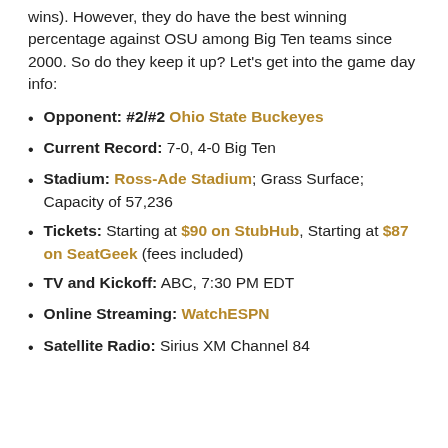wins). However, they do have the best winning percentage against OSU among Big Ten teams since 2000. So do they keep it up? Let's get into the game day info:
Opponent: #2/#2 Ohio State Buckeyes
Current Record: 7-0, 4-0 Big Ten
Stadium: Ross-Ade Stadium; Grass Surface; Capacity of 57,236
Tickets: Starting at $90 on StubHub, Starting at $87 on SeatGeek (fees included)
TV and Kickoff: ABC, 7:30 PM EDT
Online Streaming: WatchESPN
Satellite Radio: Sirius XM Channel 84